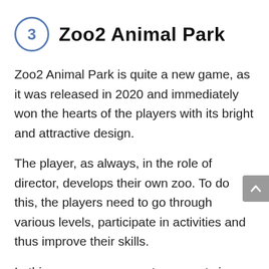3 Zoo2 Animal Park
Zoo2 Animal Park is quite a new game, as it was released in 2020 and immediately won the hearts of the players with its bright and attractive design.
The player, as always, in the role of director, develops their own zoo. To do this, the players need to go through various levels, participate in activities and thus improve their skills.
In this game, you can put more pets in your zoo, such as rabbits, horses, and others, as well as exotic animals.